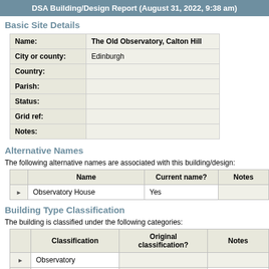DSA Building/Design Report (August 31, 2022, 9:38 am)
Basic Site Details
| Field | Value |
| --- | --- |
| Name: | The Old Observatory, Calton Hill |
| City or county: | Edinburgh |
| Country: |  |
| Parish: |  |
| Status: |  |
| Grid ref: |  |
| Notes: |  |
Alternative Names
The following alternative names are associated with this building/design:
|  | Name | Current name? | Notes |
| --- | --- | --- | --- |
| ▶ | Observatory House | Yes |  |
Building Type Classification
The building is classified under the following categories:
|  | Classification | Original classification? | Notes |
| --- | --- | --- | --- |
| ▶ | Observatory |  |  |
| ▶ | House |  | The tower was occupied by Thomas... |